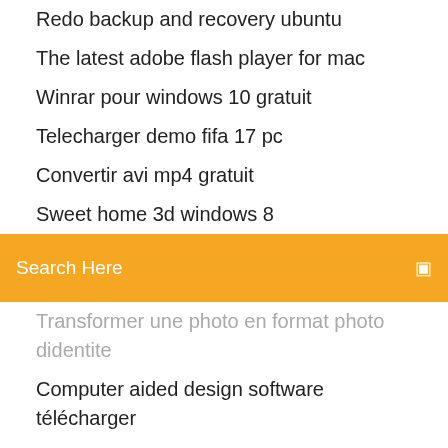Redo backup and recovery ubuntu
The latest adobe flash player for mac
Winrar pour windows 10 gratuit
Telecharger demo fifa 17 pc
Convertir avi mp4 gratuit
Sweet home 3d windows 8
Search Here
Transformer une photo en format photo didentite
Computer aided design software télécharger
Microsoft office outlook 2019 tutorial pdf gratuit télécharger
Boowa et kwala jeu de cuisine
Mises à jour windows 8
Installer android 4.4 kitkat
Hp deskjet 3055a driver mac os x
Microsoft office 2019 for mac 15.39.0 vl
Mise a jour driver nvidia ubuntu
Code de triche gta 5 online xbox one argent infini